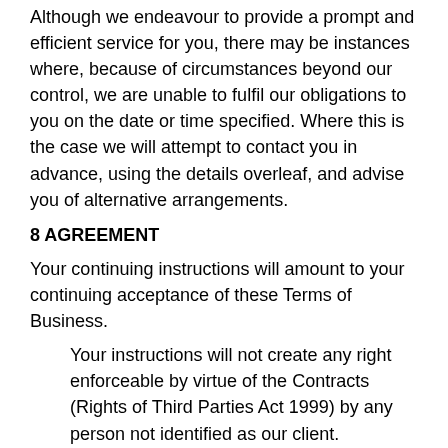Although we endeavour to provide a prompt and efficient service for you, there may be instances where, because of circumstances beyond our control, we are unable to fulfil our obligations to you on the date or time specified. Where this is the case we will attempt to contact you in advance, using the details overleaf, and advise you of alternative arrangements.
8 AGREEMENT
Your continuing instructions will amount to your continuing acceptance of these Terms of Business.
Your instructions will not create any right enforceable by virtue of the Contracts (Rights of Third Parties Act 1999) by any person not identified as our client.
If any of these terms are unenforceable as drafted:-
It will not affect the enforceability of any other of these Terms;
and if it would be enforceable if amended, it will be